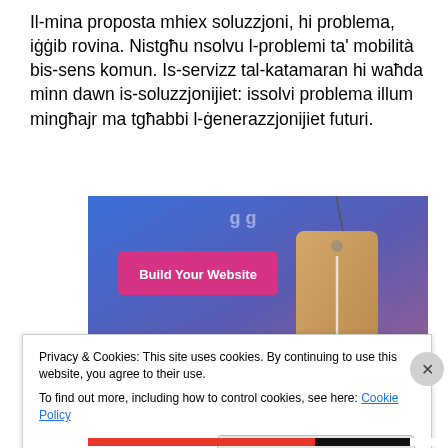Il-mina proposta mhiex soluzzjoni, hi problema, iġġib rovina. Nistgħu nsolvu l-problemi ta' mobilità bis-sens komun. Is-servizz tal-katamaran hi waħda minn dawn is-soluzzjonijiet: issolvi problema illum mingħajr ma tgħabbi l-ġenerazzjonijiet futuri.
[Figure (screenshot): A screenshot of a website builder page with a blue-to-purple gradient background, a pink 'Build Your Website' button on the left, and a hanging price tag illustration on the right.]
Privacy & Cookies: This site uses cookies. By continuing to use this website, you agree to their use.
To find out more, including how to control cookies, see here: Cookie Policy
Close and accept